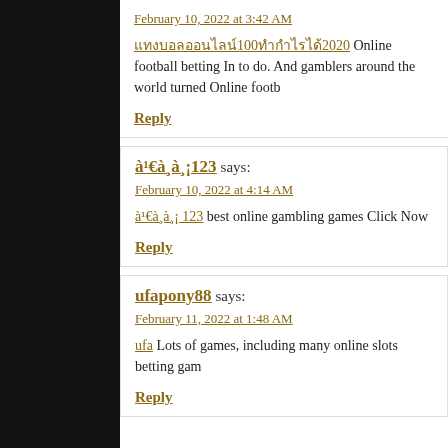February 10, 2022 at 3:42 AM
แทงบอลออนไลน์100ทำกำไรได้2020 Online football betting In to do. And gamblers around the world turned Online footb
Reply
à¹€à¸à¸¡123 says:
February 10, 2022 at 4:14 AM
à¹€à¸à¸¡ 123 best online gambling games Click Now
Reply
ufapony88 says:
February 11, 2022 at 1:48 AM
ufa Lots of games, including many online slots betting gam
Reply